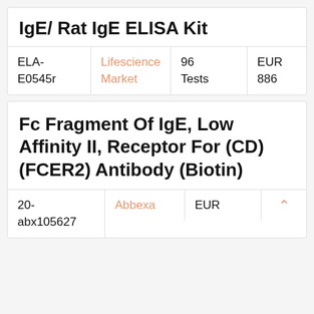IgE/ Rat IgE ELISA Kit
| ID | Vendor | Quantity | Price |
| --- | --- | --- | --- |
| ELA-E0545r | Lifescience Market | 96 Tests | EUR 886 |
Fc Fragment Of IgE, Low Affinity II, Receptor For (CD) (FCER2) Antibody (Biotin)
| ID | Vendor | Price |  |
| --- | --- | --- | --- |
| 20-abx105627 | Abbexa | EUR | ▲ |